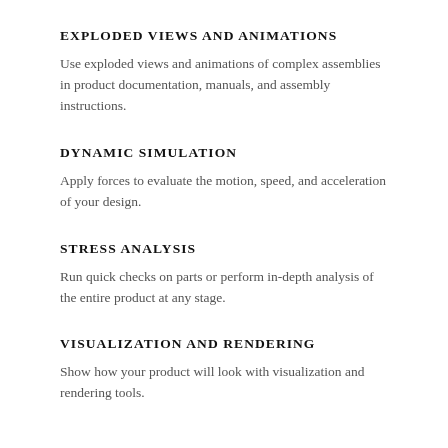EXPLODED VIEWS AND ANIMATIONS
Use exploded views and animations of complex assemblies in product documentation, manuals, and assembly instructions.
DYNAMIC SIMULATION
Apply forces to evaluate the motion, speed, and acceleration of your design.
STRESS ANALYSIS
Run quick checks on parts or perform in-depth analysis of the entire product at any stage.
VISUALIZATION AND RENDERING
Show how your product will look with visualization and rendering tools.